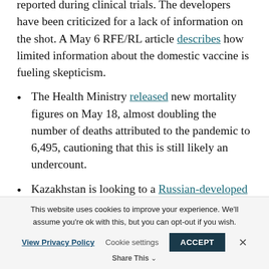developers insist no such side effects were reported during clinical trials. The developers have been criticized for a lack of information on the shot. A May 6 RFE/RL article describes how limited information about the domestic vaccine is fueling skepticism.
The Health Ministry released new mortality figures on May 18, almost doubling the number of deaths attributed to the pandemic to 6,495, cautioning that this is still likely an undercount.
Kazakhstan is looking to a Russian-developed phone app to reopen after a year of mostly sporadic COVID-19 shutdowns. One health
This website uses cookies to improve your experience. We'll assume you're ok with this, but you can opt-out if you wish.
View Privacy Policy   Cookie settings   ACCEPT   Share This